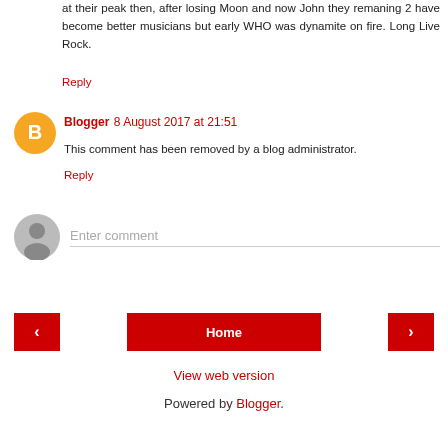at their peak then, after losing Moon and now John they remaning 2 have become better musicians but early WHO was dynamite on fire. Long Live Rock.
Reply
Blogger  8 August 2017 at 21:51
This comment has been removed by a blog administrator.
Reply
Enter comment
Home
View web version
Powered by Blogger.